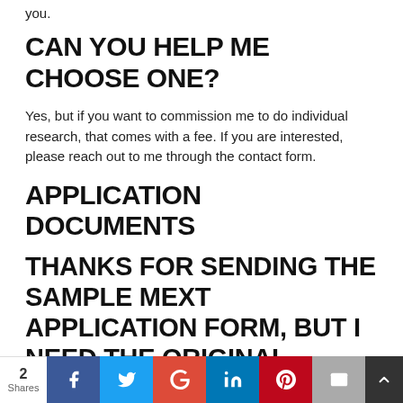you.
CAN YOU HELP ME CHOOSE ONE?
Yes, but if you want to commission me to do individual research, that comes with a fee. If you are interested, please reach out to me through the contact form.
APPLICATION DOCUMENTS
THANKS FOR SENDING THE SAMPLE MEXT APPLICATION FORM, BUT I NEED THE ORIGINAL. WHERE CAN I GET IT?
2 Shares | Facebook | Twitter | Google+ | LinkedIn | Pinterest | Email | More | Back to top